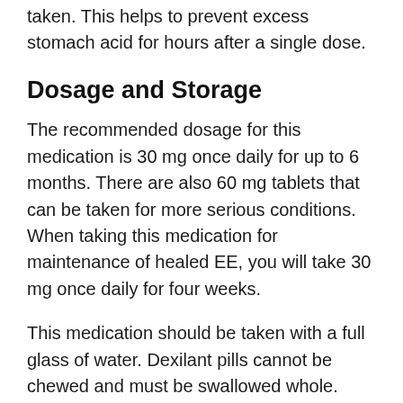taken. This helps to prevent excess stomach acid for hours after a single dose.
Dosage and Storage
The recommended dosage for this medication is 30 mg once daily for up to 6 months. There are also 60 mg tablets that can be taken for more serious conditions. When taking this medication for maintenance of healed EE, you will take 30 mg once daily for four weeks.
This medication should be taken with a full glass of water. Dexilant pills cannot be chewed and must be swallowed whole. Dexilant can be taken with or without food. If you cannot swallow the pill whole, you will need to take it with